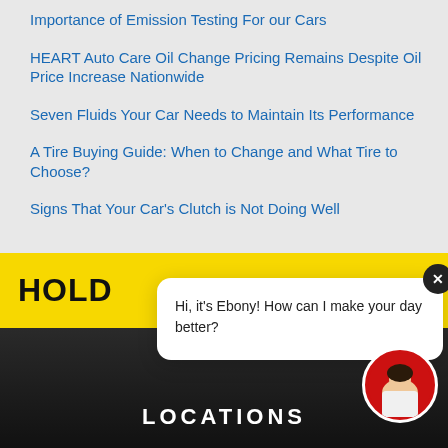Importance of Emission Testing For our Cars
HEART Auto Care Oil Change Pricing Remains Despite Oil Price Increase Nationwide
Seven Fluids Your Car Needs to Maintain Its Performance
A Tire Buying Guide: When to Change and What Tire to Choose?
Signs That Your Car's Clutch is Not Doing Well
Email Address
Sign Up
HOLD DOWN
[Figure (screenshot): Chat popup with message: Hi, it's Ebony! How can I make your day better?]
LOCATIONS